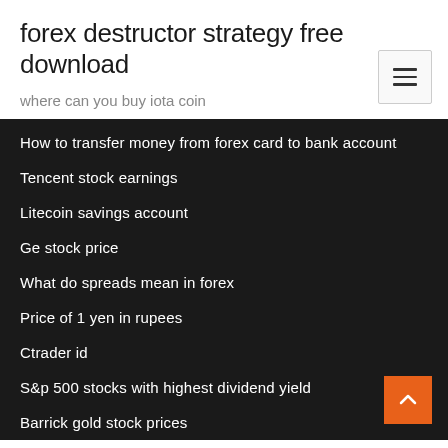forex destructor strategy free download
where can you buy iota coin
How to transfer money from forex card to bank account
Tencent stock earnings
Litecoin savings account
Ge stock price
What do spreads mean in forex
Price of 1 yen in rupees
Ctrader id
S&p 500 stocks with highest dividend yield
Barrick gold stock prices